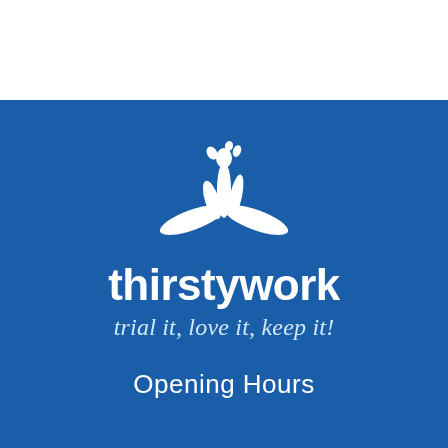[Figure (logo): Thirstywork company logo: white stylized water droplet splash figure on blue background, with the brand name 'thirstywork' in bold white sans-serif, tagline 'trial it, love it, keep it!' in italic white script below, and 'Opening Hours' text at bottom.]